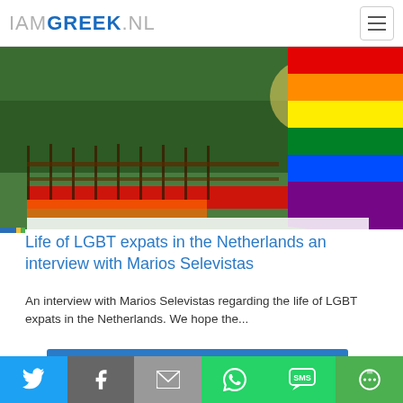IAMGREEK.NL
[Figure (photo): Rainbow pride flag waving over bicycle racks with trees and sunlight in Amsterdam]
Life of LGBT expats in the Netherlands an interview with Marios Selevistas
An interview with Marios Selevistas regarding the life of LGBT expats in the Netherlands. We hope the...
Read more
STUDENT LIFE